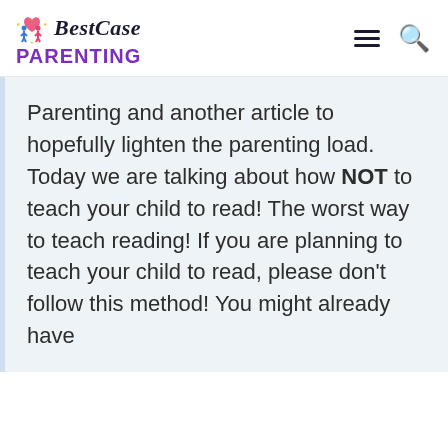BestCase PARENTING
Parenting and another article to hopefully lighten the parenting load. Today we are talking about how NOT to teach your child to read! The worst way to teach reading! If you are planning to teach your child to read, please don't follow this method! You might already have